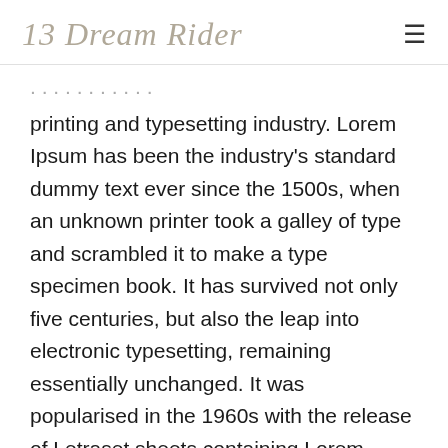13 Dream Rider
printing and typesetting industry. Lorem Ipsum has been the industry's standard dummy text ever since the 1500s, when an unknown printer took a galley of type and scrambled it to make a type specimen book. It has survived not only five centuries, but also the leap into electronic typesetting, remaining essentially unchanged. It was popularised in the 1960s with the release of Letraset sheets containing Lorem Ipsum passages, and more recently with desktop publishing software like Aldus PageMaker including